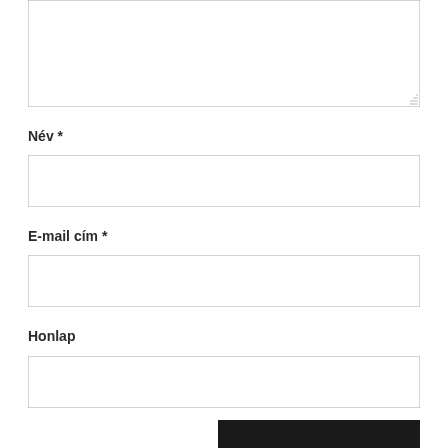[Figure (screenshot): Large textarea input box at the top of the form]
Név *
[Figure (screenshot): Text input field for Név (Name)]
E-mail cím *
[Figure (screenshot): Text input field for E-mail cím (Email address)]
Honlap
[Figure (screenshot): Text input field for Honlap (Website)]
[Figure (screenshot): Dark submit button at the bottom right]